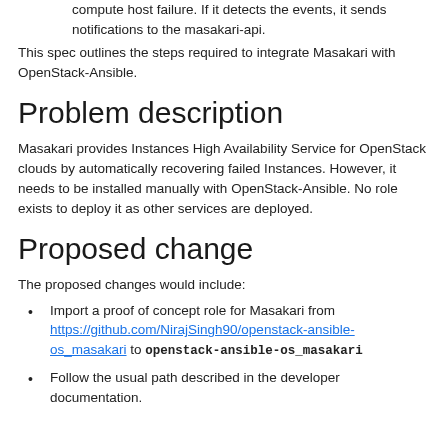compute host failure. If it detects the events, it sends notifications to the masakari-api.
This spec outlines the steps required to integrate Masakari with OpenStack-Ansible.
Problem description
Masakari provides Instances High Availability Service for OpenStack clouds by automatically recovering failed Instances. However, it needs to be installed manually with OpenStack-Ansible. No role exists to deploy it as other services are deployed.
Proposed change
The proposed changes would include:
Import a proof of concept role for Masakari from https://github.com/NirajSingh90/openstack-ansible-os_masakari to openstack-ansible-os_masakari
Follow the usual path described in the developer documentation.